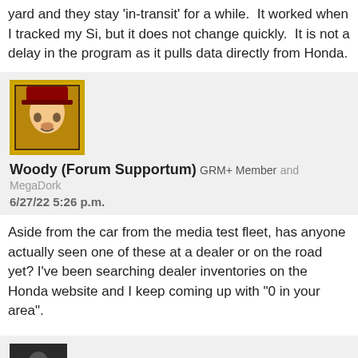yard and they stay 'in-transit' for a while.  It worked when I tracked my Si, but it does not change quickly.  It is not a delay in the program as it pulls data directly from Honda.
[Figure (photo): Avatar image of Woody (Toy Story character) with yellow border]
Woody (Forum Supportum)  GRM+ Member  and MegaDork
6/27/22 5:26 p.m.
Aside from the car from the media test fleet, has anyone actually seen one of these at a dealer or on the road yet? I've been searching dealer inventories on the Honda website and I keep coming up with "0 in your area".
[Figure (photo): Avatar image of pointofdeparture (dark photo of person with car)]
pointofdeparture  UltimaDork
6/27/22 5:28 p.m.